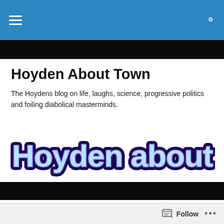Hoyden About Town – navigation bar
Hoyden About Town
The Hoydens blog on life, laughs, science, progressive politics and foiling diabolical masterminds.
[Figure (logo): Stylized logo reading 'Hoyden about Town' in rounded bubbly purple/blue lettering with dark outline on white background]
Friday Hoyden: Sekai Holland
Posted by Anna
The current Zimbabwean Minister for Reconciliation, Healing and Integration has a long history with Australia